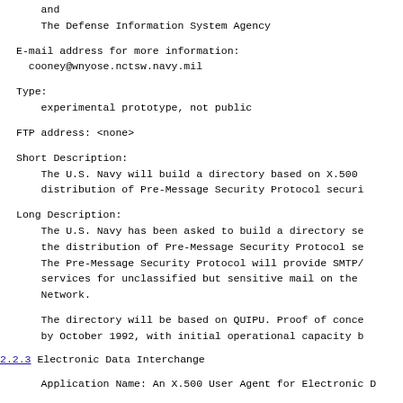and
    The Defense Information System Agency
E-mail address for more information:
  cooney@wnyose.nctsw.navy.mil
Type:
  experimental prototype, not public
FTP address: <none>
Short Description:
  The U.S. Navy will build a directory based on X.500
  distribution of Pre-Message Security Protocol securi
Long Description:
  The U.S. Navy has been asked to build a directory se
  the distribution of Pre-Message Security Protocol se
  The Pre-Message Security Protocol will provide SMTP/
  services for unclassified but sensitive mail on the
  Network.

  The directory will be based on QUIPU. Proof of conce
  by October 1992, with initial operational capacity b
2.2.3 Electronic Data Interchange
Application Name: An X.500 User Agent for Electronic D
Date Received: 7/10/1992